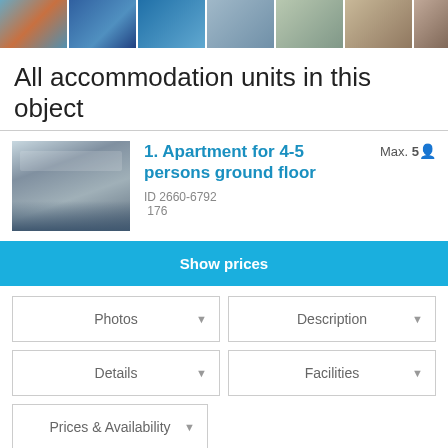[Figure (photo): Strip of 7 property photos at top of page]
All accommodation units in this object
[Figure (photo): Apartment photo showing balcony with table and sea view]
1. Apartment for 4-5 persons ground floor
Max. 5
ID 2660-6792
176
Show prices
Photos
Description
Details
Facilities
Prices & Availability
[Figure (photo): Second apartment thumbnail photo]
2. Apartment for
Max. 5